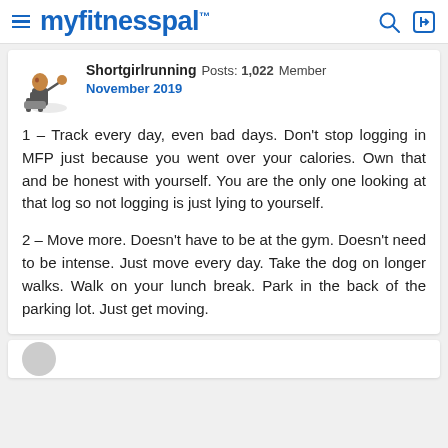myfitnesspal
Shortgirlrunning  Posts: 1,022  Member
November 2019
1 – Track every day, even bad days. Don't stop logging in MFP just because you went over your calories. Own that and be honest with yourself. You are the only one looking at that log so not logging is just lying to yourself.
2 – Move more. Doesn't have to be at the gym. Doesn't need to be intense. Just move every day. Take the dog on longer walks. Walk on your lunch break. Park in the back of the parking lot. Just get moving.